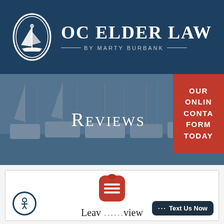[Figure (logo): OC Elder Law by Marty Burbank logo with sailboat in oval on dark navy background]
[Figure (photo): Hero banner with marina/boats photo, 'Reviews' text centered, and red CTA box reading OUR ONLINE CONTACT FORM TODAY]
Leave a Review
[Figure (illustration): Accessibility icon (person in circle), red menu/chat icon, and '... Text Us Now' dark teal chat button]